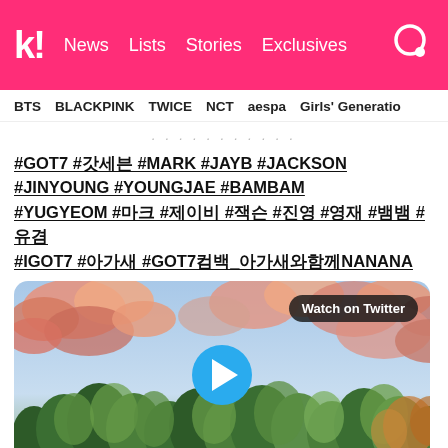k! News Lists Stories Exclusives
BTS   BLACKPINK   TWICE   NCT   aespa   Girls' Generation
...
#GOT7 #갓세븐 #MARK #JAYB #JACKSON #JINYOUNG #YOUNGJAE #BAMBAM #YUGYEOM #마크 #제이비 #잭슨 #진영 #영재 #뱀뱀 #유겸 #IGOT7 #아가새 #GOT7컴백_아가새와함께NANANA
[Figure (screenshot): Video thumbnail showing a stylized animated forest scene with pink and orange clouds, trees. Has a 'Watch on Twitter' badge and a blue play button in the center.]